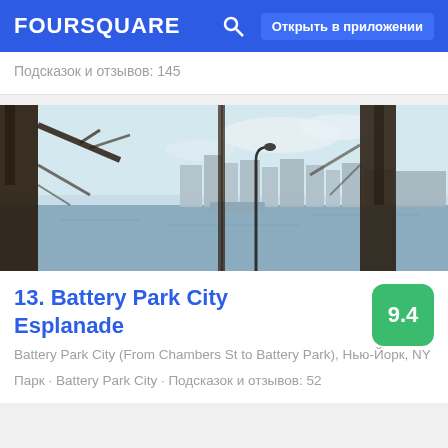FOURSQUARE   Открыть в приложении
Подсказок и отзывов: 145
[Figure (photo): Outdoor waterfront photo showing Battery Park City Esplanade with wooden posts/pillars in foreground, a street lamp, and city skyline across the water with a light blue sky]
13. Battery Park City Esplanade
Battery Park City (From Chambers St to Battery Park), Нью-Йорк, NY
Парк · Battery Park City · Подсказок и отзывов: 52